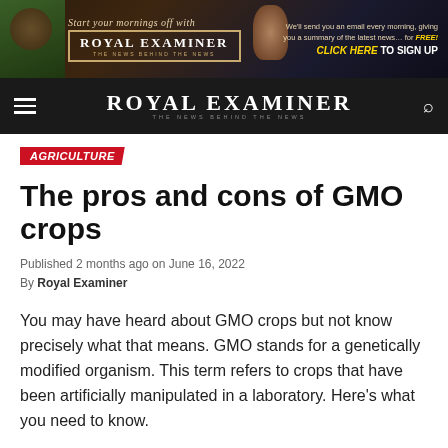[Figure (screenshot): Banner advertisement for Royal Examiner newsletter signup showing coffee cup, phone with news app, Royal Examiner logo, and call to action 'CLICK HERE TO SIGN UP']
ROYAL EXAMINER — THE NEWS BEHIND THE NEWS
AGRICULTURE
The pros and cons of GMO crops
Published 2 months ago on June 16, 2022
By Royal Examiner
You may have heard about GMO crops but not know precisely what that means. GMO stands for a genetically modified organism. This term refers to crops that have been artificially manipulated in a laboratory. Here's what you need to know.
Advantages
Many GMO crops have been altered to be less vulnerable